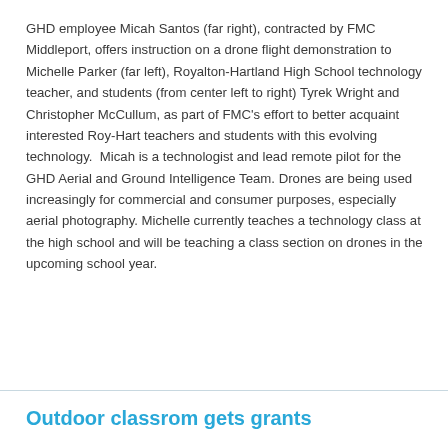GHD employee Micah Santos (far right), contracted by FMC Middleport, offers instruction on a drone flight demonstration to Michelle Parker (far left), Royalton-Hartland High School technology teacher, and students (from center left to right) Tyrek Wright and Christopher McCullum, as part of FMC's effort to better acquaint interested Roy-Hart teachers and students with this evolving technology.  Micah is a technologist and lead remote pilot for the GHD Aerial and Ground Intelligence Team. Drones are being used increasingly for commercial and consumer purposes, especially aerial photography. Michelle currently teaches a technology class at the high school and will be teaching a class section on drones in the upcoming school year.
Share
Outdoor classrom gets grants